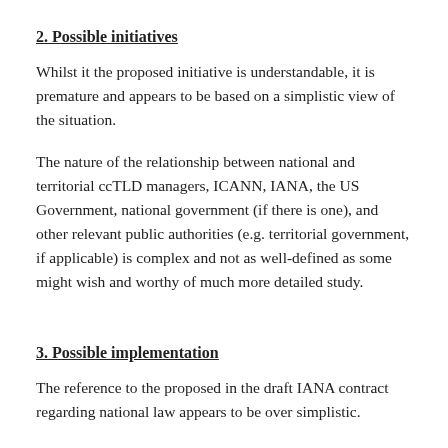2. Possible initiatives
Whilst it the proposed initiative is understandable, it is premature and appears to be based on a simplistic view of the situation.
The nature of the relationship between national and territorial ccTLD managers, ICANN, IANA, the US Government, national government (if there is one), and other relevant public authorities (e.g. territorial government, if applicable) is complex and not as well-defined as some might wish and worthy of much more detailed study.
3. Possible implementation
The reference to the proposed in the draft IANA contract regarding national law appears to be over simplistic.